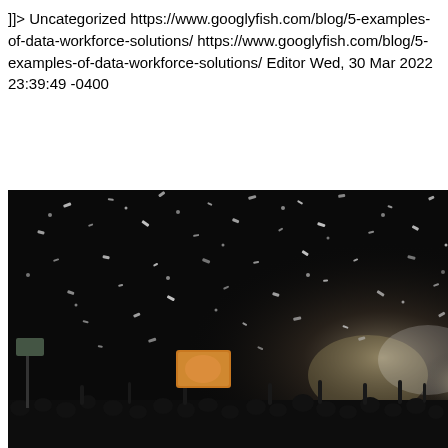]]> Uncategorized https://www.googlyfish.com/blog/5-examples-of-data-workforce-solutions/ https://www.googlyfish.com/blog/5-examples-of-data-workforce-solutions/ Editor Wed, 30 Mar 2022 23:39:49 -0400
[Figure (photo): A dark concert or outdoor event scene with confetti or snow particles filling the air, bright stage lights on the right side, a large video screen visible in the crowd, and silhouettes of audience members with raised hands in the foreground.]